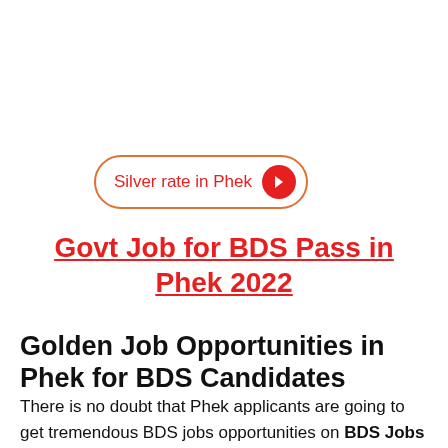[Figure (infographic): Orange-bordered pill button with red text 'Silver rate in Phek' and a red circular arrow button on the right]
Govt Job for BDS Pass in Phek 2022
Golden Job Opportunities in Phek for BDS Candidates
There is no doubt that Phek applicants are going to get tremendous BDS jobs opportunities on BDS Jobs Phek 2022 page after BDS. If you have...